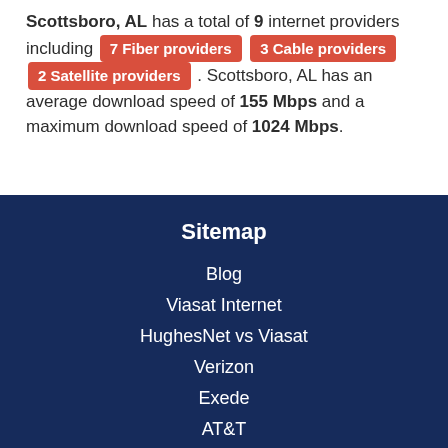Scottsboro, AL has a total of 9 internet providers including 7 Fiber providers 3 Cable providers 2 Satellite providers . Scottsboro, AL has an average download speed of 155 Mbps and a maximum download speed of 1024 Mbps.
Sitemap
Blog
Viasat Internet
HughesNet vs Viasat
Verizon
Exede
AT&T
Centurylink